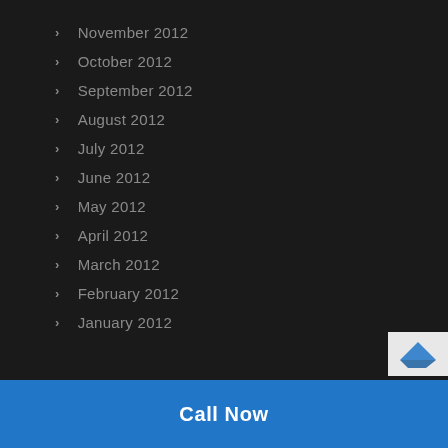November 2012
October 2012
September 2012
August 2012
July 2012
June 2012
May 2012
April 2012
March 2012
February 2012
January 2012
Call Now